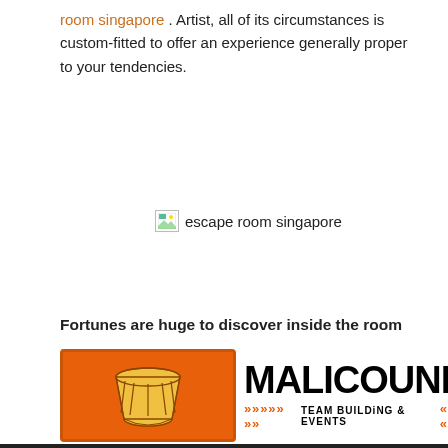room singapore . Artist, all of its circumstances is custom-fitted to offer an experience generally proper to your tendencies.
[Figure (illustration): Broken image placeholder with alt text 'escape room singapore']
Fortunes are huge to discover inside the room ...
READ MORE
[Figure (logo): Malicounda Team Building & Events logo with African drum icon on orange background]